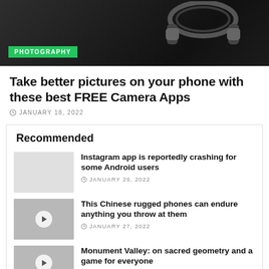[Figure (photo): Dark background with headphones, photography hero image with green PHOTOGRAPHY tag overlay]
Take better pictures on your phone with these best FREE Camera Apps
JANUARY 18, 2022
Recommended
Instagram app is reportedly crashing for some Android users
JANUARY 29, 2022
This Chinese rugged phones can endure anything you throw at them
JANUARY 27, 2022
Monument Valley: on sacred geometry and a game for everyone